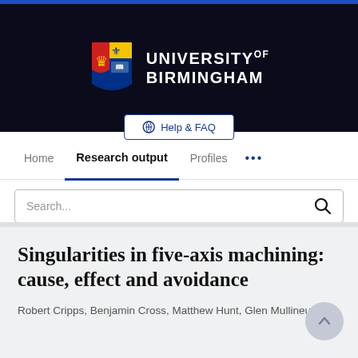University of Birmingham
Help & FAQ
Home  Research output  Profiles  ...
Search...
Singularities in five-axis machining: cause, effect and avoidance
Robert Cripps, Benjamin Cross, Matthew Hunt, Glen Mullineux